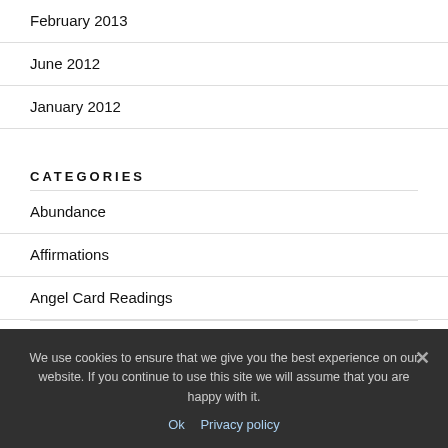February 2013
June 2012
January 2012
CATEGORIES
Abundance
Affirmations
Angel Card Readings
We use cookies to ensure that we give you the best experience on our website. If you continue to use this site we will assume that you are happy with it.
Ok   Privacy policy